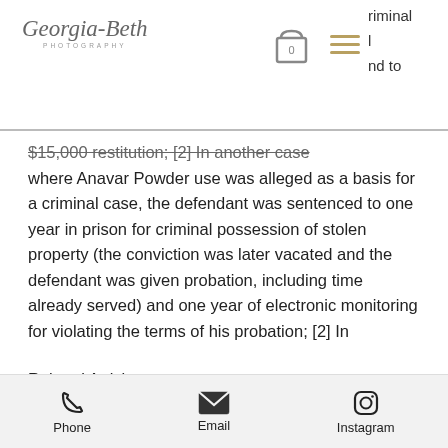Georgia-Beth Photography
$15,000 restitution; [2] In another case where Anavar Powder use was alleged as a basis for a criminal case, the defendant was sentenced to one year in prison for criminal possession of stolen property (the conviction was later vacated and the defendant was given probation, including time already served) and one year of electronic monitoring for violating the terms of his probation; [2] In
Related Article:
https://www.ronniedeanharris.com/profile/annellewhitmyre196057/profile
https://www.oclab-mindful.com/profile/lesweissgerber100088/pr
Phone  Email  Instagram